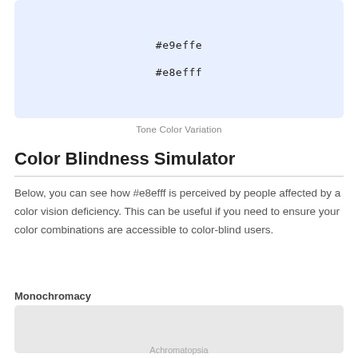[Figure (other): Color swatch showing light blue color #e8efff with hex labels #e9effe and #e8efff]
Tone Color Variation
Color Blindness Simulator
Below, you can see how #e8efff is perceived by people affected by a color vision deficiency. This can be useful if you need to ensure your color combinations are accessible to color-blind users.
Monochromacy
[Figure (other): Gray color swatch representing Achromatopsia simulation of #e8efff]
Achromatopsia